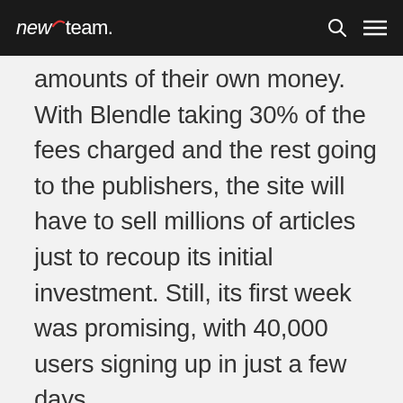newteam.
amounts of their own money. With Blendle taking 30% of the fees charged and the rest going to the publishers, the site will have to sell millions of articles just to recoup its initial investment. Still, its first week was promising, with 40,000 users signing up in just a few days.